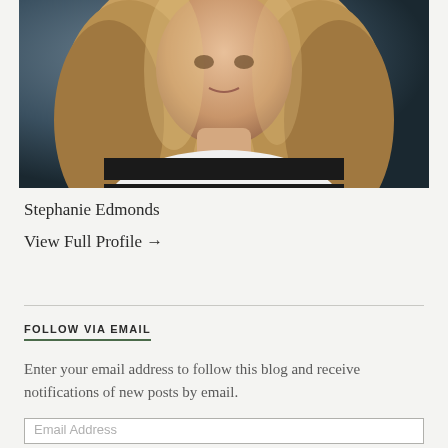[Figure (photo): Professional headshot of Stephanie Edmonds, a woman with long blonde/brown wavy hair wearing a black and white sleeveless top, photographed against a dark blue background.]
Stephanie Edmonds
View Full Profile →
FOLLOW VIA EMAIL
Enter your email address to follow this blog and receive notifications of new posts by email.
Email Address